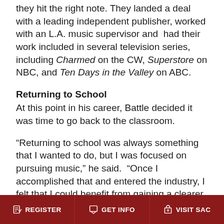they hit the right note. They landed a deal with a leading independent publisher, worked with an L.A. music supervisor and had their work included in several television series, including Charmed on the CW, Superstore on NBC, and Ten Days in the Valley on ABC.
Returning to School
At this point in his career, Battle decided it was time to go back to the classroom.
“Returning to school was always something that I wanted to do, but I was focused on pursuing music,” he said. “Once I accomplished that and entered the industry, I felt that I could benefit from gaining a clearer understanding of best business practices”
REGISTER | GET INFO | VISIT SAC